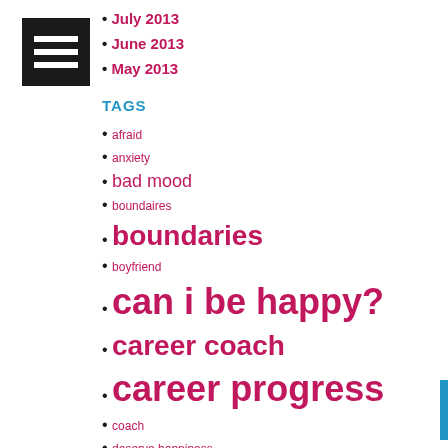[Figure (logo): Black square logo with three horizontal white lines (hamburger/list icon)]
July 2013
June 2013
May 2013
TAGS
afraid
anxiety
bad mood
boundaires
boundaries
boyfriend
can i be happy?
career coach
career progress
coach
deserve happiness
disappointment
dreams